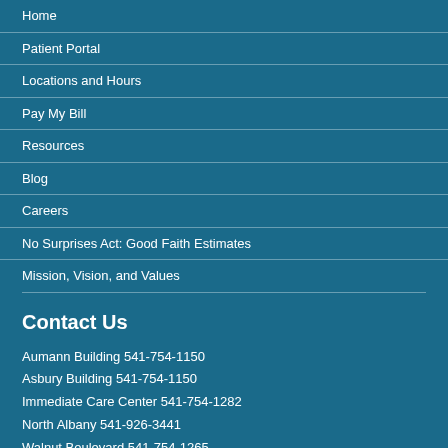Home
Patient Portal
Locations and Hours
Pay My Bill
Resources
Blog
Careers
No Surprises Act: Good Faith Estimates
Mission, Vision, and Values
Contact Us
Aumann Building 541-754-1150
Asbury Building 541-754-1150
Immediate Care Center 541-754-1282
North Albany 541-926-3441
Walnut Boulevard 541-754-1265
Waverly/Albany 541-967-8221
Philomath 541-929-2922